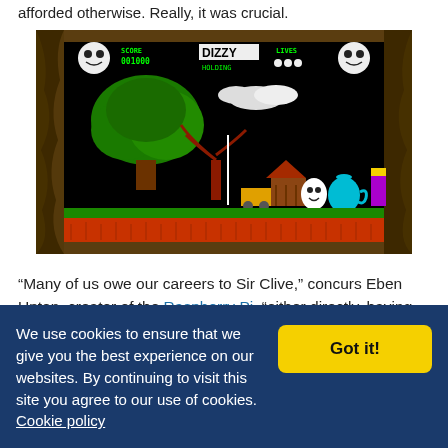afforded otherwise. Really, it was crucial.
[Figure (screenshot): Screenshot of the classic ZX Spectrum game 'Dizzy' showing HUD with SCORE 001000, DIZZY title, LIVES indicators, and a game scene with a tree, building, the Dizzy egg character, a teapot, and colorful ground. Surrounded by a decorative wooden frame.]
“Many of us owe our careers to Sir Clive,” concurs Eben Upton, creator of the Raspberry Pi, “either directly, having grown up programming the
We use cookies to ensure that we give you the best experience on our websites. By continuing to visit this site you agree to our use of cookies. Cookie policy